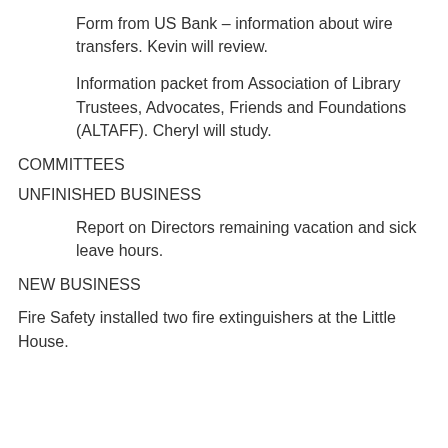Form from US Bank – information about wire transfers. Kevin will review.
Information packet from Association of Library Trustees, Advocates, Friends and Foundations (ALTAFF). Cheryl will study.
COMMITTEES
UNFINISHED BUSINESS
Report on Directors remaining vacation and sick leave hours.
NEW BUSINESS
Fire Safety installed two fire extinguishers at the Little House.